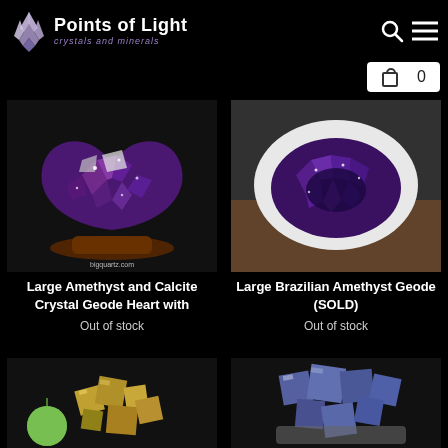Points of Light crystals and minerals
[Figure (photo): Large amethyst and calcite crystal geode heart on wooden stand, against black background, with bigquartz.com watermark]
[Figure (photo): Large Brazilian amethyst geode with white calcite rim, against black background]
Large Amethyst and Calcite Crystal Geode Heart with
Out of stock
Large Brazilian Amethyst Geode (SOLD)
Out of stock
[Figure (photo): Pyrite crystal cluster with green apple for scale, against black background]
[Figure (photo): Blue fluorite crystal cluster against black background]